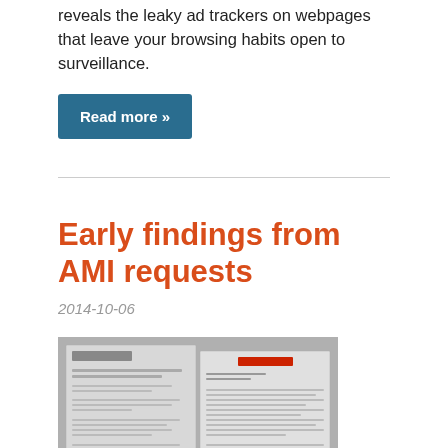reveals the leaky ad trackers on webpages that leave your browsing habits open to surveillance.
Read more »
Early findings from AMI requests
2014-10-06
[Figure (photo): Photo of two documents — one from Northwestel and one from Rogers — showing government access to information request responses]
This post provides a summary of early findings associated with Canadians creating right to information requests using the Access My Info tool. The following is of these findings...